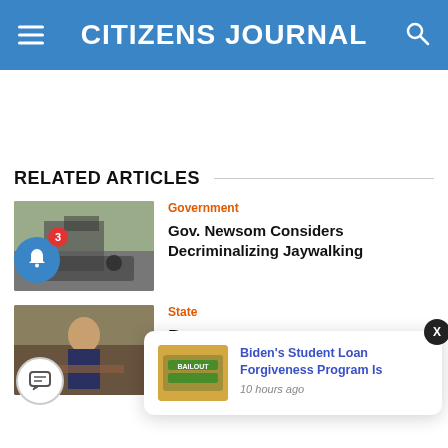CITIZENS JOURNAL
RELATED ARTICLES
Government
Gov. Newsom Considers Decriminalizing Jaywalking
State
Biden's Student Loan Forgiveness Program Is...
10 hours ago